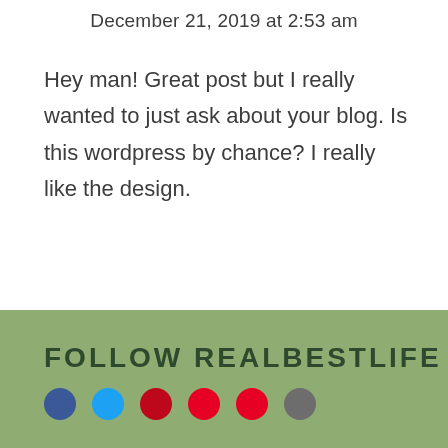December 21, 2019 at 2:53 am
Hey man! Great post but I really wanted to just ask about your blog. Is this wordpress by chance? I really like the design.
FOLLOW REALBESTLIFE